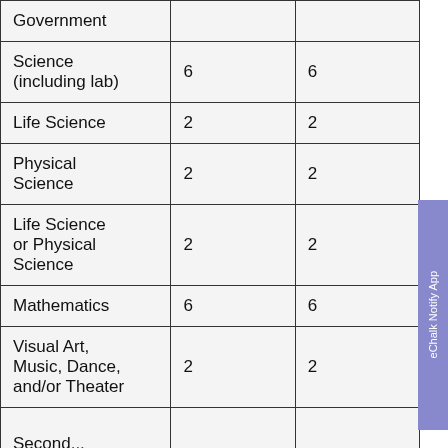| Government |  |  |
| Science (including lab) | 6 | 6 |
| Life Science | 2 | 2 |
| Physical Science | 2 | 2 |
| Life Science or Physical Science | 2 | 2 |
| Mathematics | 6 | 6 |
| Visual Art, Music, Dance, and/or Theater | 2 | 2 |
| Second... |  |  |